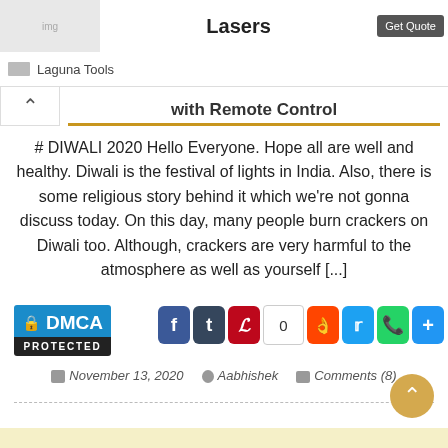Lasers
Laguna Tools
with Remote Control
# DIWALI 2020 Hello Everyone. Hope all are well and healthy. Diwali is the festival of lights in India. Also, there is some religious story behind it which we're not gonna discuss today. On this day, many people burn crackers on Diwali too. Although, crackers are very harmful to the atmosphere as well as yourself [...]
[Figure (logo): DMCA Protected badge — blue top with lock icon and DMCA text, black bottom with PROTECTED text]
[Figure (infographic): Social share buttons: Facebook (blue f), Tumblr (dark t), Pinterest (red P), share count 0, Reddit (orange), Twitter (blue bird), WhatsApp (green), Share (blue +)]
November 13, 2020   Aabhishek   Comments (8)